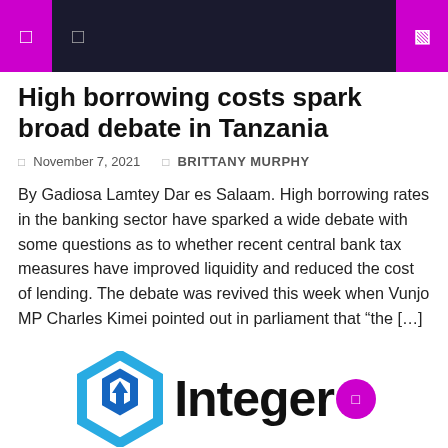Navigation bar with icons
High borrowing costs spark broad debate in Tanzania
November 7, 2021   BRITTANY MURPHY
By Gadiosa Lamtey Dar es Salaam. High borrowing rates in the banking sector have sparked a wide debate with some questions as to whether recent central bank tax measures have improved liquidity and reduced the cost of lending. The debate was revived this week when Vunjo MP Charles Kimei pointed out in parliament that “the […]
[Figure (logo): Integer logo with hexagon icon in blue and the word 'Integer' in bold black text, with a purple circular badge on the right]